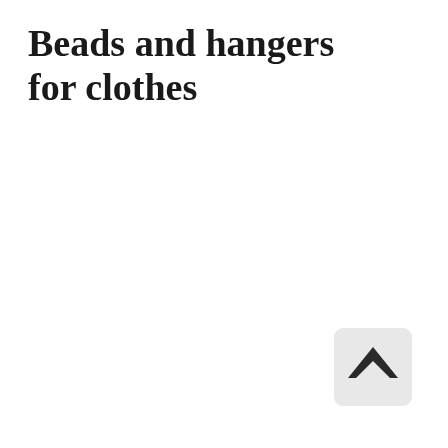Beads and hangers for clothes
[Figure (other): A rounded square button with a light grey background containing an upward-pointing chevron/caret arrow icon in dark color, used as a navigation back-to-top button.]